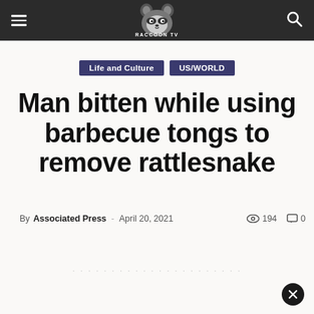Raccoon TV – navigation header with hamburger menu, logo, and search icon
Life and Culture
US/WORLD
Man bitten while using barbecue tongs to remove rattlesnake
By Associated Press - April 20, 2021   194   0